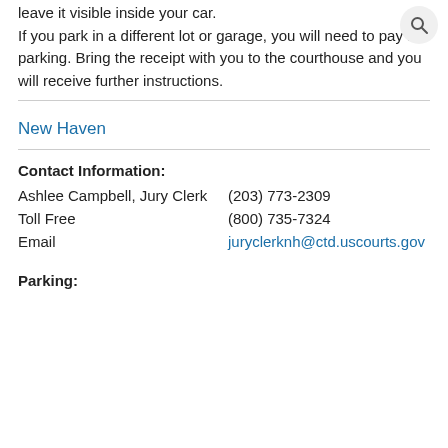leave it visible inside your car. If you park in a different lot or garage, you will need to pay for parking. Bring the receipt with you to the courthouse and you will receive further instructions.
New Haven
Contact Information:
Ashlee Campbell, Jury Clerk    (203) 773-2309
Toll Free    (800) 735-7324
Email    juryclerknh@ctd.uscourts.gov
Parking: